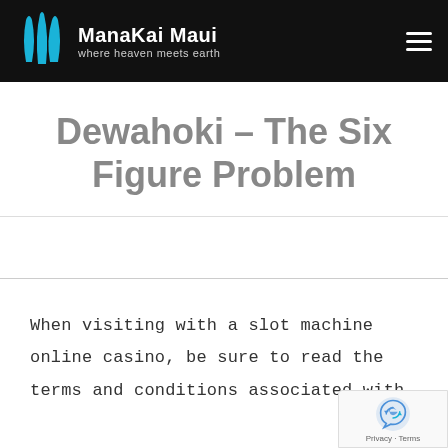Mana Kai Maui – where heaven meets earth
Dewahoki – The Six Figure Problem
When visiting with a slot machine online casino, be sure to read the terms and conditions associated with